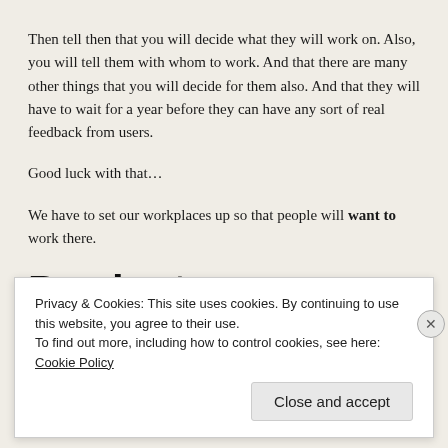Then tell then that you will decide what they will work on. Also, you will tell them with whom to work. And that there are many other things that you will decide for them also. And that they will have to wait for a year before they can have any sort of real feedback from users.
Good luck with that…
We have to set our workplaces up so that people will want to work there.
Products
The world is changing ever faster. It is also getting more and more
Privacy & Cookies: This site uses cookies. By continuing to use this website, you agree to their use.
To find out more, including how to control cookies, see here: Cookie Policy